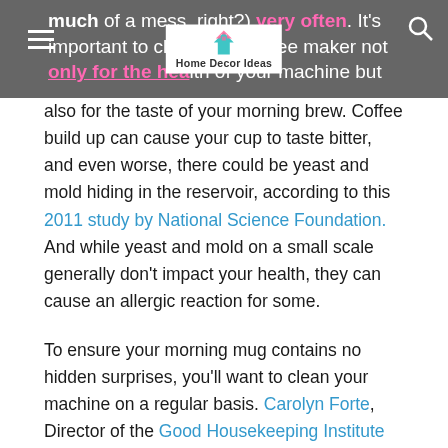much of a mess, right?) very often. It's important to clean your coffee maker not only for the health of your machine but — Home Decor Ideas logo overlay
also for the taste of your morning brew. Coffee build up can cause your cup to taste bitter, and even worse, there could be yeast and mold hiding in the reservoir, according to this 2011 study by National Science Foundation. And while yeast and mold on a small scale generally don't impact your health, they can cause an allergic reaction for some.
To ensure your morning mug contains no hidden surprises, you'll want to clean your machine on a regular basis. Carolyn Forte, Director of the Good Housekeeping Institute Home Appliances & Cleaning Product Lab, says with a little bit of water, soap and vinegar, you will be good to go.
And if you're wondering how to sanitize a K-cup machine, we've got you covered. Follow these tips for cleaning Keurig